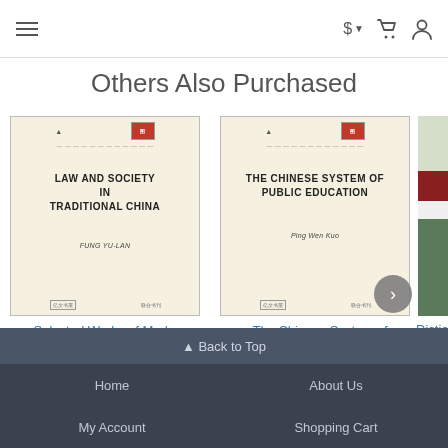≡  $  🛒  👤
Others Also Purchased
[Figure (photo): Book cover: Law and Society in Traditional China by Fung Yulan]
Selected Works of Modern Chinese Lear...
$15.80
[Figure (photo): Book cover: The Chinese System of Public Education by Ping Wen Kuo]
The Chinese System of Public Education
$8.40
[Figure (photo): Partial book cover with green and red stripes, title starting with Dictio...]
Dictio
▲ Back to Top
Home   About Us   My Account   Shopping Cart